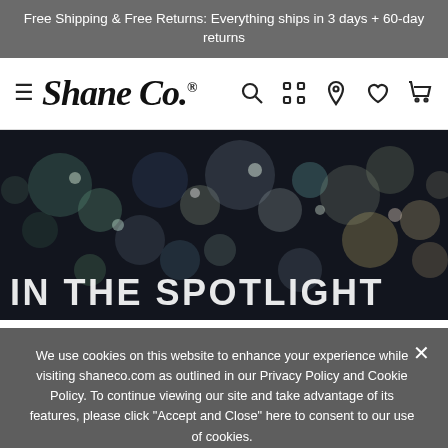Free Shipping & Free Returns: Everything ships in 3 days + 60-day returns
[Figure (logo): Shane Co. logo with hamburger menu and navigation icons (search, camera, location, heart, cart)]
[Figure (photo): Dark bokeh/blurred lights background with text 'IN THE SPOTLIGHT' overlaid]
We use cookies on this website to enhance your experience while visiting shaneco.com as outlined in our Privacy Policy and Cookie Policy. To continue viewing our site and take advantage of its features, please click "Accept and Close" here to consent to our use of cookies.
Accept and Close | More Info